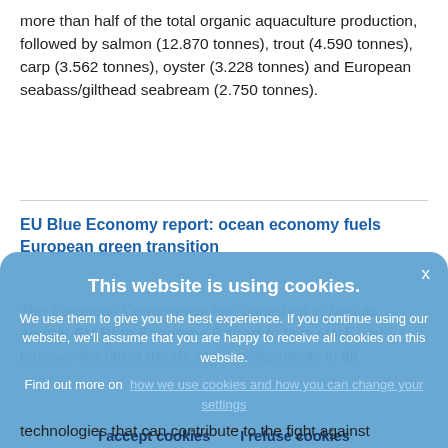more than half of the total organic aquaculture production, followed by salmon (12.870 tonnes), trout (4.590 tonnes), carp (3.562 tonnes), oyster (3.228 tonnes) and European seabass/gilthead seabream (2.750 tonnes).
EU Blue Economy report: ocean economy fuels European green transition
The European Commission has published in May its annual EU Blue Economy Report to take stock and uncover the latest trends and developments in all
[Figure (screenshot): Cookie consent overlay banner with title 'This website is using cookies.' and body text explaining cookie usage, a link to cookie settings, and two buttons: 'I accept cookies' and 'I refuse cookies'. A close button (x) is in the top right corner.]
technologies that can contribute to the fight against